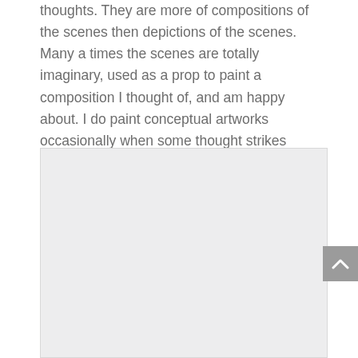thoughts. They are more of compositions of the scenes then depictions of the scenes. Many a times the scenes are totally imaginary, used as a prop to paint a composition I thought of, and am happy about. I do paint conceptual artworks occasionally when some thought strikes along with ideas to compose them. But I am more comfortable with what I call landscapes.
[Figure (photo): A large light gray rectangular placeholder image block, likely representing an embedded photograph or artwork on the page.]